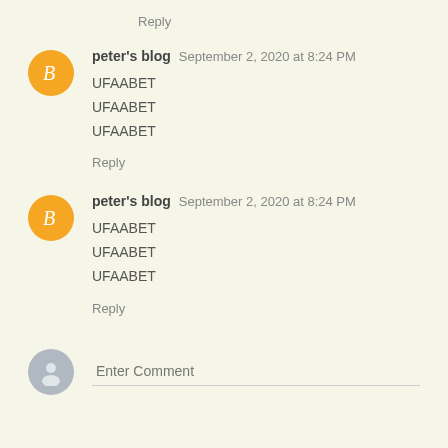Reply
peter's blog  September 2, 2020 at 8:24 PM
UFAABET
UFAABET
UFAABET
Reply
peter's blog  September 2, 2020 at 8:24 PM
UFAABET
UFAABET
UFAABET
Reply
Enter Comment